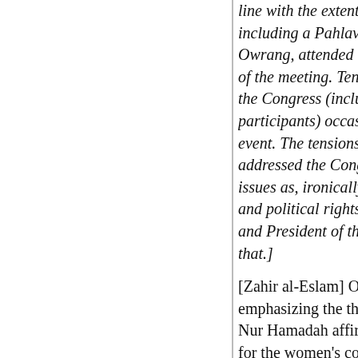line with the extent of the Congress' platform. Sta including a Pahlavi loyalist Member of Parliamen Owrang, attended the conference and attempted to of the meeting. Tensions between the Pahlavi state the Congress (including differences among Iranian participants) occasionally spilled over into press c event. The tensions were never more apparent whe addressed the Congress and warned them not to o issues as, ironically enough,"the veil" and, implic and political rights with men. Nur Hamadeh, the c and President of the Congress, was not about to le that.]
[Zahir al-Eslam] Owrang followed his speech with emphasizing the themes of deliberate and learned Nur Hamadah affirmed that, indeed, the veil was n for the women's congress. "The veil and the face v progress or impede its development [for women." endorsement of the veil than a recognition of the t of the host country. Nur Hamadah added:
We have inserted broader principles in our p because we wish to say to Western women t women do not [merely] have limited goals. trying to bring ourselves to their level. Just of Turkey have the highest degree [of prog